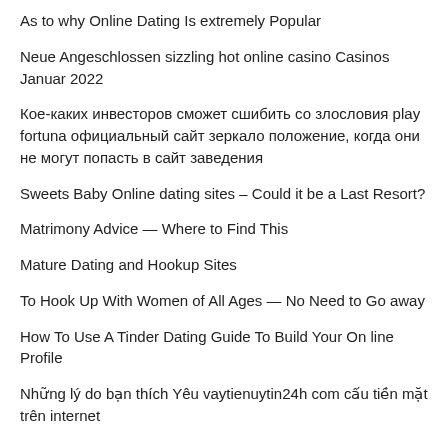As to why Online Dating Is extremely Popular
Neue Angeschlossen sizzling hot online casino Casinos Januar 2022
Кое-каких инвесторов сможет сшибить со злословия play fortuna официальный сайт зеркало положение, когда они не могут попасть в сайт заведения
Sweets Baby Online dating sites – Could it be a Last Resort?
Matrimony Advice — Where to Find This
Mature Dating and Hookup Sites
To Hook Up With Women of All Ages — No Need to Go away
How To Use A Tinder Dating Guide To Build Your On line Profile
Những lý do bạn thích Yêu vaytienuytin24h com cấu tiền mặt trên internet